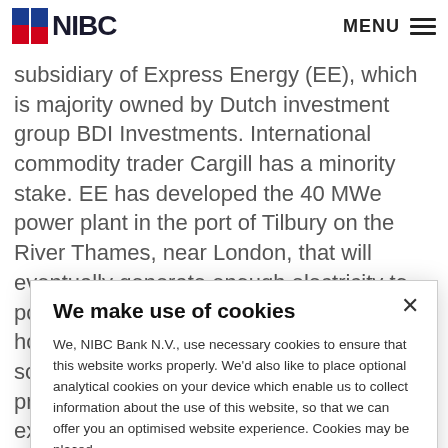NIBC | MENU
subsidiary of Express Energy (EE), which is majority owned by Dutch investment group BDI Investments. International commodity trader Cargill has a minority stake. EE has developed the 40 MWe power plant in the port of Tilbury on the River Thames, near London, that will eventually generate enough electricity to power the equivalent of some 60,000 homes. It will be fuelled by waste wood, sourced from the local catchment area and processed at an onsite facility. The plant is expected to be up and running...
We make use of cookies
We, NIBC Bank N.V., use necessary cookies to ensure that this website works properly. We'd also like to place optional analytical cookies on your device which enable us to collect information about the use of this website, so that we can offer you an optimised website experience. Cookies may be placed